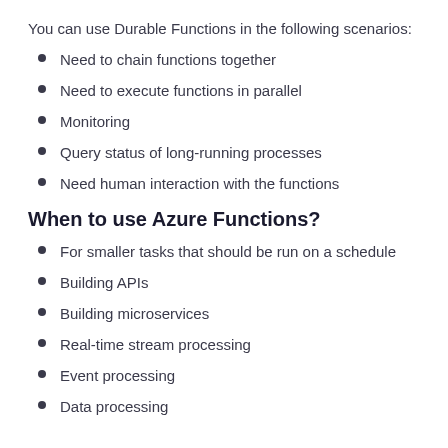You can use Durable Functions in the following scenarios:
Need to chain functions together
Need to execute functions in parallel
Monitoring
Query status of long-running processes
Need human interaction with the functions
When to use Azure Functions?
For smaller tasks that should be run on a schedule
Building APIs
Building microservices
Real-time stream processing
Event processing
Data processing